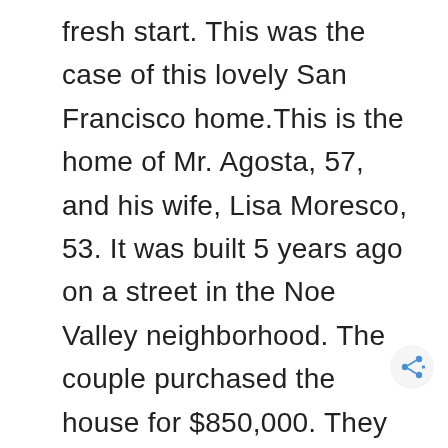fresh start. This was the case of this lovely San Francisco home.This is the home of Mr. Agosta, 57, and his wife, Lisa Moresco, 53. It was built 5 years ago on a street in the Noe Valley neighborhood. The couple purchased the house for $850,000. They expanded it and replaced the stucco façade and renovated the whole place. Their architect, Owen Kennerly had the idea to move the living area to the roof. The grou floor includes the children's bedrooms. When the renovation was over, the couple had a beautiful modern home with lovely